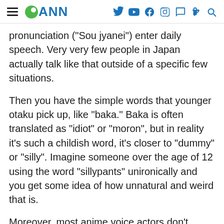ANN
pronunciation ("Sou jyanei") enter daily speech. Very very few people in Japan actually talk like that outside of a specific few situations.
Then you have the simple words that younger otaku pick up, like "baka." Baka is often translated as "idiot" or "moron", but in reality it's such a childish word, it's closer to "dummy" or "silly". Imagine someone over the age of 12 using the word "sillypants" unironically and you get some idea of how unnatural and weird that is.
Moreover, most anime voice actors don't speak the way normal people do. Much like their American counterparts, Japanese voice talent generally over-enunciate every word, and put a lot more tone of voice into every sentence. If you picked up most of your Japanese from anime and try to speak it in the same way, you're going to sound like a radio